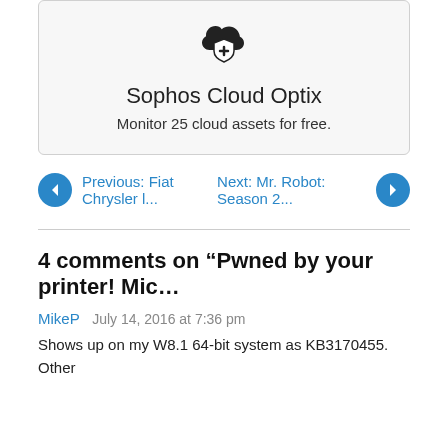[Figure (logo): Sophos Cloud Optix logo: cloud with shield and plus icon in black]
Sophos Cloud Optix
Monitor 25 cloud assets for free.
Previous: Fiat Chrysler l...
Next: Mr. Robot: Season 2...
4 comments on “Pwned by your printer! Mic…”
MikeP  July 14, 2016 at 7:36 pm
Shows up on my W8.1 64-bit system as KB3170455. Other